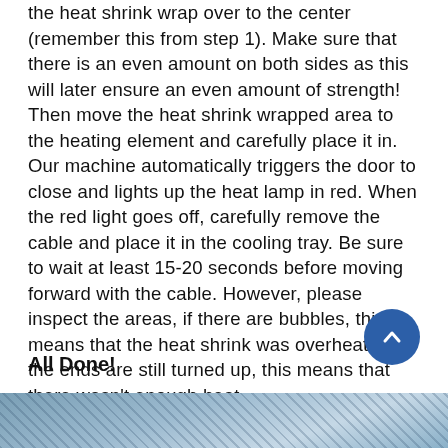the heat shrink wrap over to the center (remember this from step 1). Make sure that there is an even amount on both sides as this will later ensure an even amount of strength! Then move the heat shrink wrapped area to the heating element and carefully place it in. Our machine automatically triggers the door to close and lights up the heat lamp in red. When the red light goes off, carefully remove the cable and place it in the cooling tray. Be sure to wait at least 15-20 seconds before moving forward with the cable. However, please inspect the areas, if there are bubbles, this means that the heat shrink was overheated; if the ends are still turned up, this means that there wasn't enough heat.
All Done!
[Figure (photo): Partial photo visible at bottom of page, appears to show cable or wire with heat shrink]